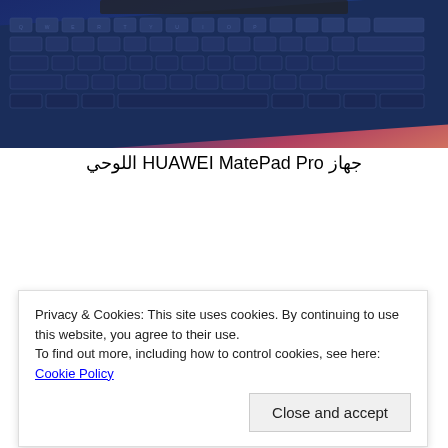[Figure (photo): Photo of a dark blue tablet keyboard accessory on an orange/pink surface, viewed from above at an angle. The keyboard keys are visible with backlighting.]
جهاز HUAWEI MatePad Pro اللوحي
[Figure (photo): Partial photo of a HUAWEI MatePad Pro tablet shown edge-on, partially visible behind a cookie consent banner.]
Privacy & Cookies: This site uses cookies. By continuing to use this website, you agree to their use.
To find out more, including how to control cookies, see here: Cookie Policy
Close and accept